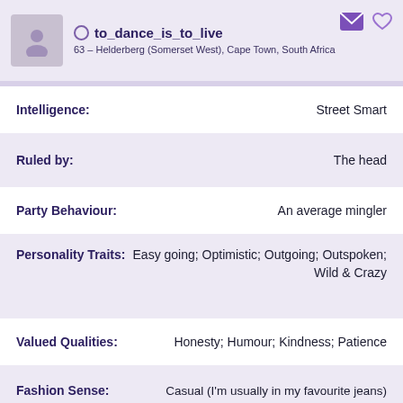to_dance_is_to_live
63 – Helderberg (Somerset West), Cape Town, South Africa
Intelligence: Street Smart
Ruled by: The head
Party Behaviour: An average mingler
Personality Traits: Easy going; Optimistic; Outgoing; Outspoken; Wild & Crazy
Valued Qualities: Honesty; Humour; Kindness; Patience
Fashion Sense: Casual (I'm usually in my favourite jeans)
Favourite Colour: Other